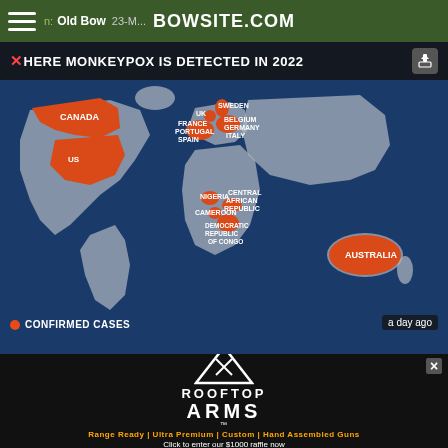BOWSITE.COM — Old Bow — 23-M...
[Figure (map): World map showing where Monkeypox is detected in 2022. Countries highlighted in orange (confirmed cases) include: Canada, US, France, Portugal, Spain, Sweden, Belgium, Germany, Italy, UK, Nigeria, Cameroon, Central African Republic, Democratic Republic of Congo, Australia. Legend: orange dot = Confirmed Cases. Timestamp: a day ago.]
[Figure (photo): Advertisement for Rooftop Arms showing rifles and logo. Text: ROOFTOP ARMS. Tagline: Range Ready | Ultra Premium | Custom | Hand Assembled Guns. Click to enter our $1000 raffle now. USA MADE - VETERAN OWNED.]